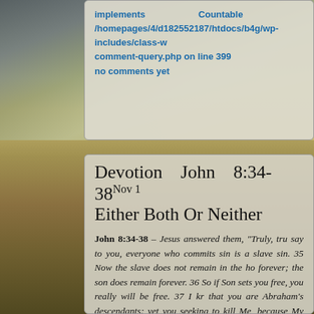implements Countable /homepages/4/d182552187/htdocs/b4g/wp-includes/class-w comment-query.php on line 399 no comments yet
Devotion John 8:34-38 Nov 1 Either Both Or Neither
John 8:34-38 – Jesus answered them, "Truly, tru say to you, everyone who commits sin is a slave sin. 35 Now the slave does not remain in the ho forever; the son does remain forever. 36 So if Son sets you free, you really will be free. 37 I kr that you are Abraham's descendants; yet you seeking to kill Me, because My word has no place you. 38 I speak of the things which I ha seen with My Father; therefore you also do the thi which you heard from your father."